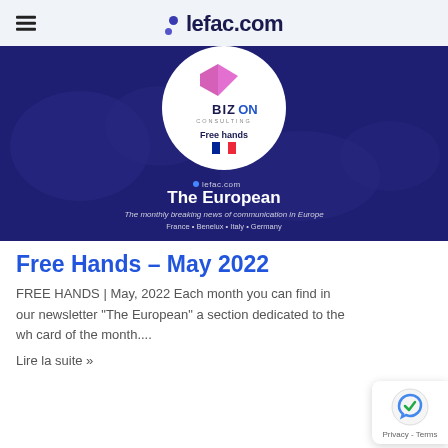lefac.com
[Figure (illustration): Dark navy blue banner with a world map silhouette background. A large white circle in the upper center contains the BIZON Consulting logo (pink arrow/bookmark shape) with text 'BIZON CONSULTING', 'Free hands', and a French flag emoji. Below the circle on the dark background: 'lefac.com', 'The European', 'The monthly breaking news of communication in Europe', 'France • Benelux • Italy • Germany']
Free Hands – May 2022
FREE HANDS | May, 2022 Each month you can find in our newsletter "The European" a section dedicated to the wh card of the month....
Lire la suite »